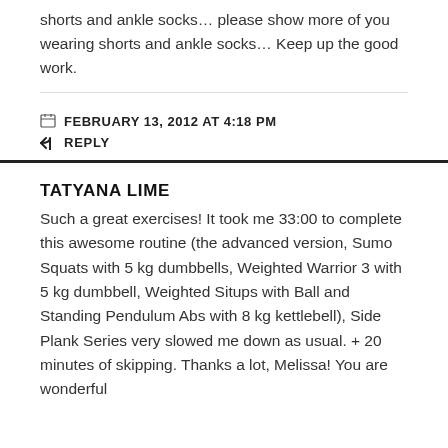shorts and ankle socks… please show more of you wearing shorts and ankle socks… Keep up the good work.
FEBRUARY 13, 2012 AT 4:18 PM
REPLY
TATYANA LIME
Such a great exercises! It took me 33:00 to complete this awesome routine (the advanced version, Sumo Squats with 5 kg dumbbells, Weighted Warrior 3 with 5 kg dumbbell, Weighted Situps with Ball and Standing Pendulum Abs with 8 kg kettlebell), Side Plank Series very slowed me down as usual. + 20 minutes of skipping. Thanks a lot, Melissa! You are wonderful